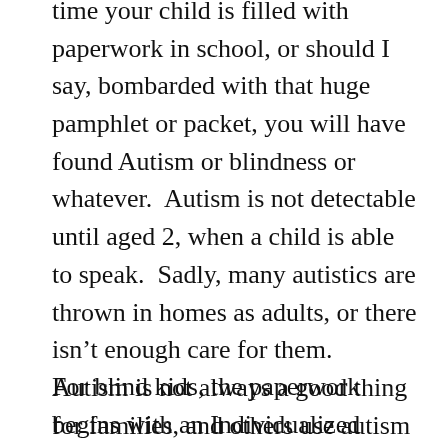time your child is filled with paperwork in school, or should I say, bombarded with that huge pamphlet or packet, you will have found Autism or blindness or whatever.  Autism is not detectable until aged 2, when a child is able to speak.  Sadly, many autistics are thrown in homes as adults, or there isn't enough care for them.  Autism is not always a good thing for families, and others use autism as an excuse to divorce or split up or just neglect the child's needs.  Not all kids have this problem, but I've met many autistics who have parents who are cool and those who are cool themselves.
For blind kids, the paperwork begins with an Individualized Education Plan.  Let's use John